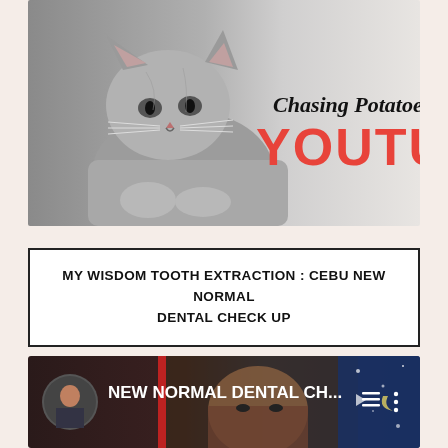[Figure (photo): YouTube channel banner for 'Chasing Potatoes' featuring a grey tabby cat in black and white on the left, with the cursive text 'Chasing Potatoes' and bold red 'YOUTUBE' text on the right]
MY WISDOM TOOTH EXTRACTION : CEBU NEW NORMAL DENTAL CHECK UP
[Figure (screenshot): YouTube video thumbnail/player showing a person with text 'NEW NORMAL DENTAL CH...' and a queue/menu icon, with a profile photo on the left and blue background on the right]